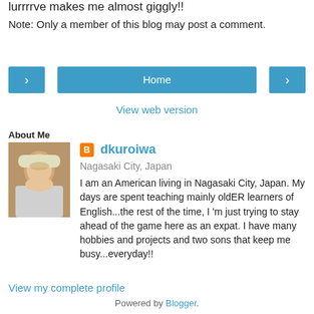lurrrrve makes me almost giggly!!
Note: Only a member of this blog may post a comment.
Home (navigation button)
View web version
About Me
dkuroiwa
Nagasaki City, Japan
I am an American living in Nagasaki City, Japan. My days are spent teaching mainly oldER learners of English...the rest of the time, I 'm just trying to stay ahead of the game here as an expat. I have many hobbies and projects and two sons that keep me busy...everyday!!
View my complete profile
Powered by Blogger.